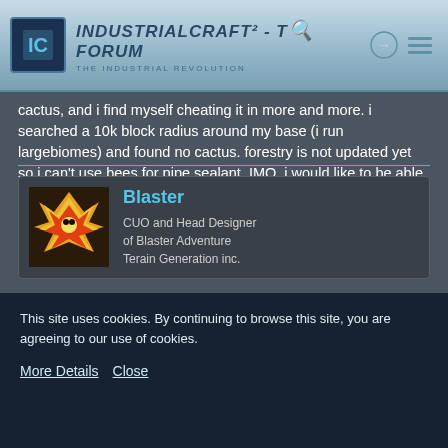IndustrialCraft² - The Forum - The Industrial Revolution
cactus, and i find myself cheating it in more and more. i searched a 10k block radius around my base (i run largebiomes) and found no cactus. forestry is not updated yet so i can't use bees for pipe sealant. IMO, i would like to be able to use a mixture of sticky resin and a compressed plant ball to make pipe sealant. suggestions?
Blaster
CUO and Head Designer of Blaster Adventure Terain Generation inc.
This site uses cookies. By continuing to browse this site, you are agreeing to our use of cookies.
More Details
Close